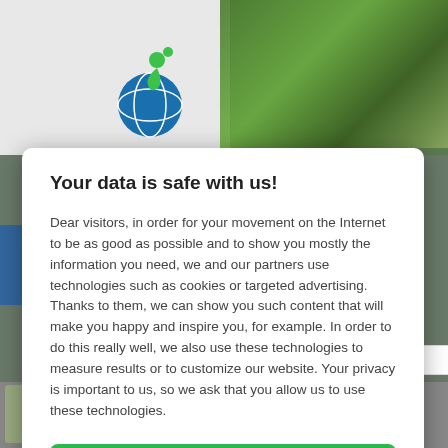[Figure (screenshot): Website background with logo (green globe icon), trees/nature photo at top right, blue band, and thumbnail images at bottom]
Your data is safe with us!
Dear visitors, in order for your movement on the Internet to be as good as possible and to show you mostly the information you need, we and our partners use technologies such as cookies or targeted advertising. Thanks to them, we can show you such content that will make you happy and inspire you, for example. In order to do this really well, we also use these technologies to measure results or to customize our website. Your privacy is important to us, so we ask that you allow us to use these technologies.
Accept
Deny
Set